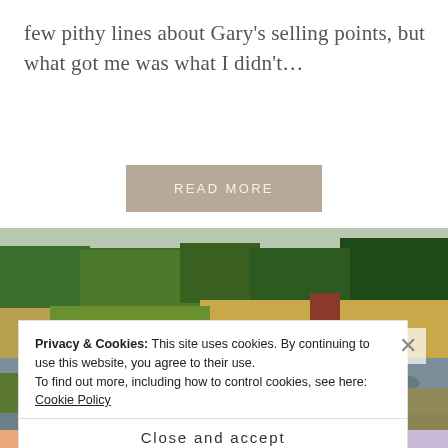few pithy lines about Gary's selling points, but what got me was what I didn't...
READ MORE
[Figure (photo): Outdoor landscape photo showing a wetland or marsh with reeds, green trees, and a reflective body of water under a cloudy sky.]
Privacy & Cookies: This site uses cookies. By continuing to use this website, you agree to their use.
To find out more, including how to control cookies, see here: Cookie Policy
Close and accept